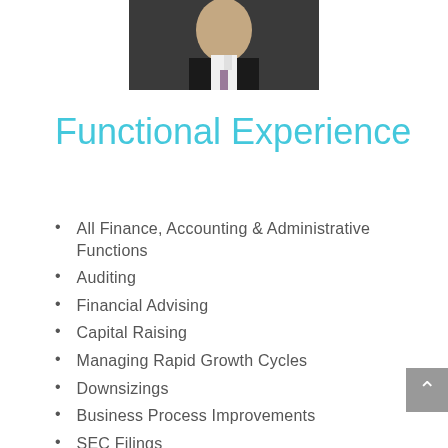[Figure (photo): Professional headshot of a man in a dark suit and tie against a dark background]
Functional Experience
All Finance, Accounting & Administrative Functions
Auditing
Financial Advising
Capital Raising
Managing Rapid Growth Cycles
Downsizings
Business Process Improvements
SEC Filings
SOX Compliance
Mergers & Acquisitions
Strategic Planning